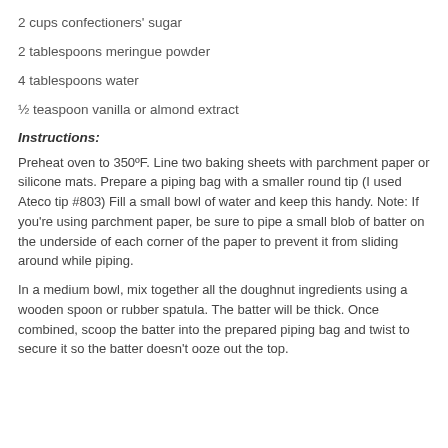2 cups confectioners' sugar
2 tablespoons meringue powder
4 tablespoons water
½ teaspoon vanilla or almond extract
Instructions:
Preheat oven to 350ºF. Line two baking sheets with parchment paper or silicone mats. Prepare a piping bag with a smaller round tip (I used Ateco tip #803) Fill a small bowl of water and keep this handy. Note: If you're using parchment paper, be sure to pipe a small blob of batter on the underside of each corner of the paper to prevent it from sliding around while piping.
In a medium bowl, mix together all the doughnut ingredients using a wooden spoon or rubber spatula. The batter will be thick. Once combined, scoop the batter into the prepared piping bag and twist to secure it so the batter doesn't ooze out the top.